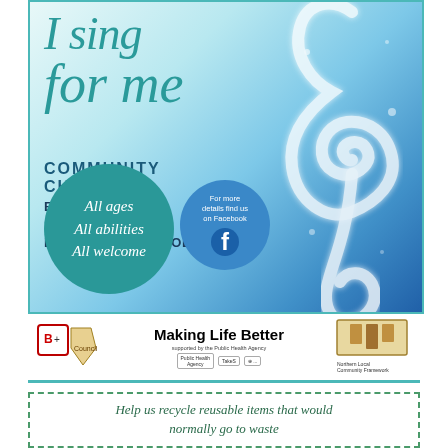[Figure (illustration): Community choir poster with teal and blue watercolour background featuring a large treble clef. Text reads: I sing for me Community Choir. Every Friday 10.30am to 12pm Ballymena Methodist Hall. All ages All abilities All welcome. For more details find us on Facebook.]
[Figure (logo): Sponsors bar with logos: BC logo, Making Life Better supported by the Public Health Agency, Public Health Agency, TakeS, and Northern Local Community framework logos.]
Help us recycle reusable items that would normally go to waste